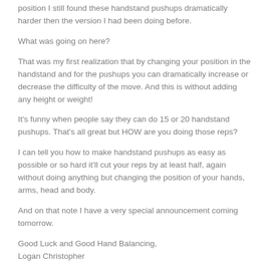position I still found these handstand pushups dramatically harder then the version I had been doing before.
What was going on here?
That was my first realization that by changing your position in the handstand and for the pushups you can dramatically increase or decrease the difficulty of the move. And this is without adding any height or weight!
It's funny when people say they can do 15 or 20 handstand pushups. That's all great but HOW are you doing those reps?
I can tell you how to make handstand pushups as easy as possible or so hard it'll cut your reps by at least half, again without doing anything but changing the position of your hands, arms, head and body.
And on that note I have a very special announcement coming tomorrow.
Good Luck and Good Hand Balancing,
Logan Christopher